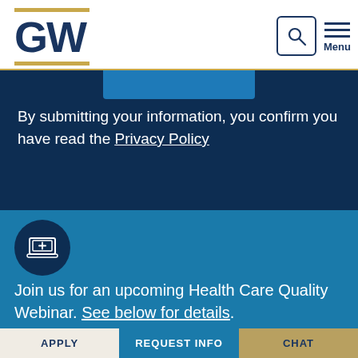GW — George Washington University header with search and menu icons
By submitting your information, you confirm you have read the Privacy Policy
[Figure (illustration): Dark navy circle with laptop/medical cross icon in white outline]
Join us for an upcoming Health Care Quality Webinar. See below for details.
APPLY | REQUEST INFO | CHAT